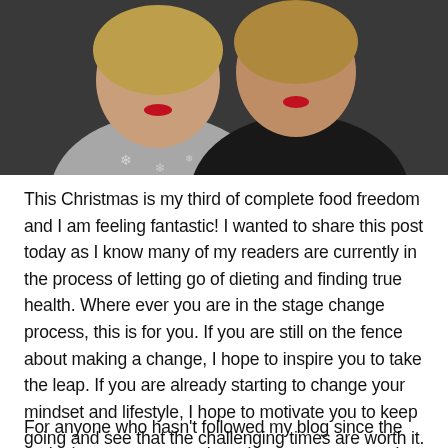[Figure (photo): Two women smiling closely together, one wearing a grey top with snowflake pattern, the other in a black top. Both wearing red lipstick. Dark background.]
This Christmas is my third of complete food freedom and I am feeling fantastic! I wanted to share this post today as I know many of my readers are currently in the process of letting go of dieting and finding true health. Where ever you are in the stage change process, this is for you. If you are still on the fence about making a change, I hope to inspire you to take the leap. If you are already starting to change your mindset and lifestyle, I hope to motivate you to keep going and see that the challenging times are worth it. If you are already on the other side, I hope to celebrate with you!
For anyone who hasn't followed my blog since the early days, you can read my three part story starting here. In